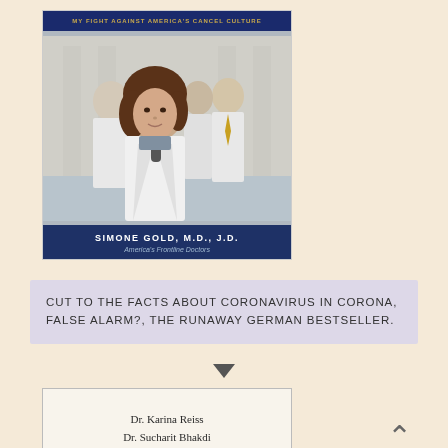[Figure (photo): Book cover: Simone Gold M.D., J.D., America's Frontline Doctors — woman in white lab coat speaking at microphone in front of courthouse steps with male doctors behind her, dark navy top and bottom bars with gold and white text]
CUT TO THE FACTS ABOUT CORONAVIRUS IN CORONA, FALSE ALARM?, THE RUNAWAY GERMAN BESTSELLER.
[Figure (photo): Book cover: Corona False Alarm? by Dr. Karina Reiss and Dr. Sucharit Bhakdi — white background with author names in serif font and CORONA in large bold red letters]